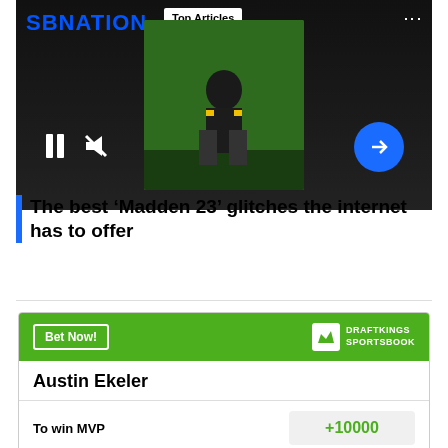[Figure (screenshot): SBNation video player showing a football game clip with 'Top Articles' badge, pause and mute controls, and a blue arrow button. Title: 'The best Madden 23 glitches the internet has to offer']
The best ‘Madden 23’ glitches the internet has to offer
| Bet | Odds |
| --- | --- |
| Austin Ekeler |  |
| To win MVP | +10000 |
| To win Offensive Player of the Year | +5000 |